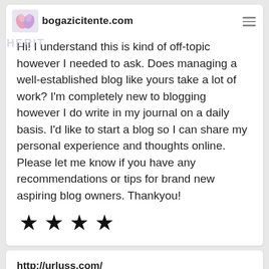bogazicitente.com
Hi! I understand this is kind of off-topic however I needed to ask. Does managing a well-established blog like yours take a lot of work? I'm completely new to blogging however I do write in my journal on a daily basis. I'd like to start a blog so I can share my personal experience and thoughts online. Please let me know if you have any recommendations or tips for brand new aspiring blog owners. Thankyou!
[Figure (other): Four filled black stars rating]
http://urluss.com/